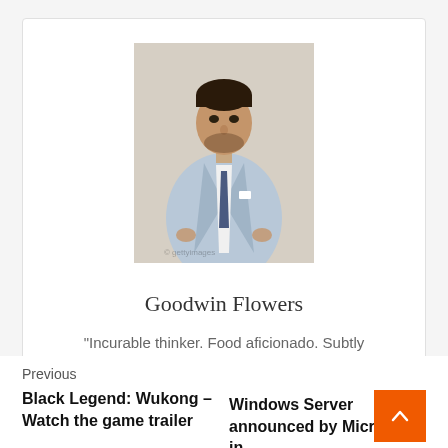[Figure (photo): A man in a light blue suit with a dark tie, standing against a beige/cream background, looking to the side.]
Goodwin Flowers
"Incurable thinker. Food aficionado. Subtly charming alcohol scholar. Pop culture advocate."
Previous
Black Legend: Wukong – Watch the game trailer
Windows Server announced by Microsoft in